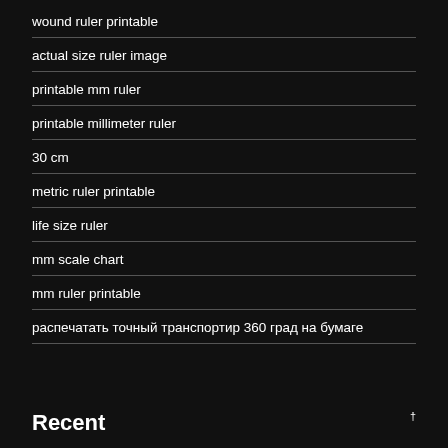wound ruler printable
actual size ruler image
printable mm ruler
printable millimeter ruler
30 cm
metric ruler printable
life size ruler
mm scale chart
mm ruler printable
распечатать точный транспортир 360 град на бумаге
Recent
†